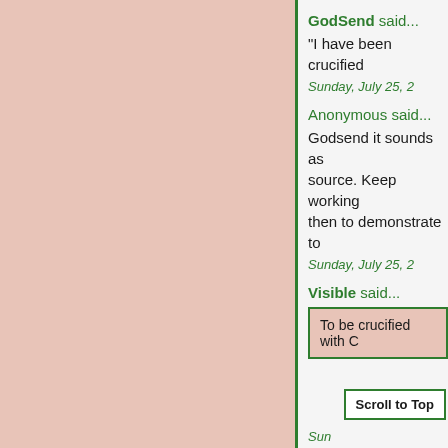GodSend said...
"I have been crucified
Sunday, July 25, 2
Anonymous said...
Godsend it sounds as source. Keep working then to demonstrate to
Sunday, July 25, 2
Visible said...
To be crucified with C
Scroll to Top
Sun